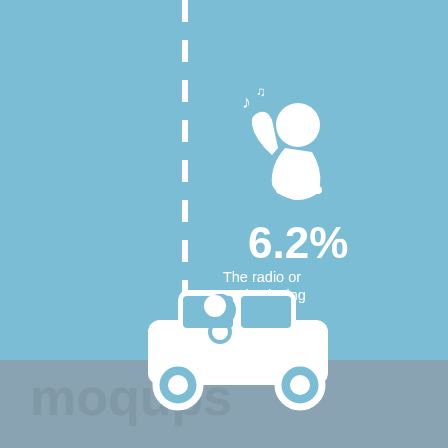[Figure (infographic): Infographic showing a distracted driving statistic. A light blue background fills the upper portion. A dashed white vertical line runs down the center-left of the image. On the right side, a white icon of a person listening to music (with musical notes) appears at the top. Below the icon, '6.2%' is shown in large white bold text, with 'The radio or music playing' in smaller white text. At the bottom, a white icon of a car with a driver is shown, partially overlapping a gray ground section at the bottom of the image.]